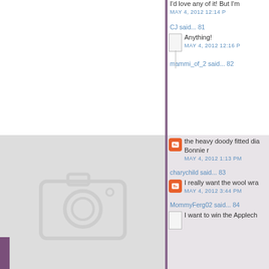I'd love any of it! But I'm
MAY 4, 2012 12:14 P
CJ said... 81
Anything!
MAY 4, 2012 12:16 P
mammi_of_2 said... 82
the heavy doody fitted dia
Bonnie r
MAY 4, 2012 1:13 PM
charychild said... 83
I really want the wool wra
MAY 4, 2012 3:44 PM
MommyFerg02 said... 84
I want to win the Applech